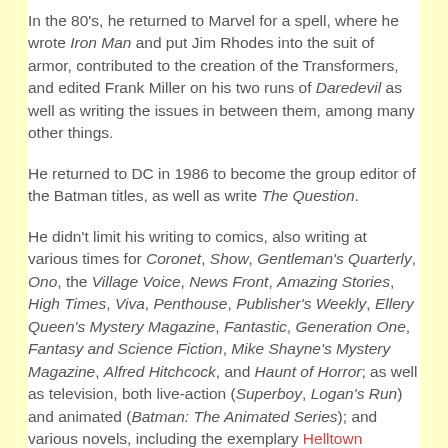In the 80's, he returned to Marvel for a spell, where he wrote Iron Man and put Jim Rhodes into the suit of armor, contributed to the creation of the Transformers, and edited Frank Miller on his two runs of Daredevil as well as writing the issues in between them, among many other things.
He returned to DC in 1986 to become the group editor of the Batman titles, as well as write The Question.
He didn't limit his writing to comics, also writing at various times for Coronet, Show, Gentleman's Quarterly, Ono, the Village Voice, News Front, Amazing Stories, High Times, Viva, Penthouse, Publisher's Weekly, Ellery Queen's Mystery Magazine, Fantastic, Generation One, Fantasy and Science Fiction, Mike Shayne's Mystery Magazine, Alfred Hitchcock, and Haunt of Horror; as well as television, both live-action (Superboy, Logan's Run) and animated (Batman: The Animated Series); and various novels, including the exemplary Helltown